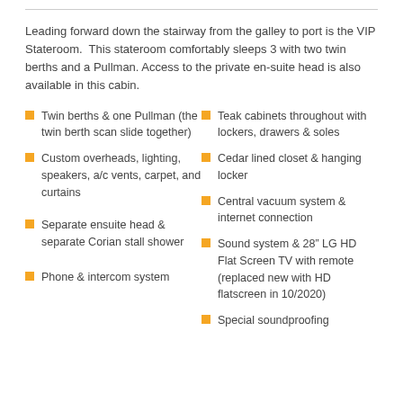Leading forward down the stairway from the galley to port is the VIP Stateroom. This stateroom comfortably sleeps 3 with two twin berths and a Pullman. Access to the private en-suite head is also available in this cabin.
Twin berths & one Pullman (the twin berth scan slide together)
Teak cabinets throughout with lockers, drawers & soles
Custom overheads, lighting, speakers, a/c vents, carpet, and curtains
Cedar lined closet & hanging locker
Central vacuum system & internet connection
Separate ensuite head & separate Corian stall shower
Sound system & 28” LG HD Flat Screen TV with remote (replaced new with HD flatscreen in 10/2020)
Phone & intercom system
Special soundproofing